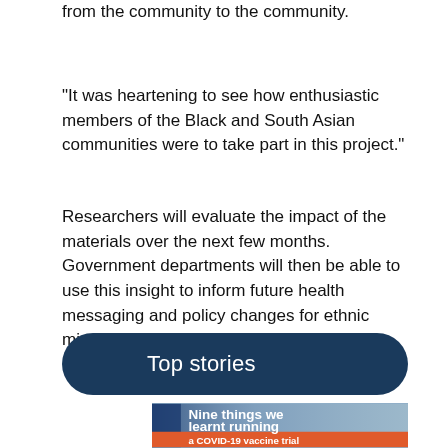from the community to the community.
“It was heartening to see how enthusiastic members of the Black and South Asian communities were to take part in this project.”
Researchers will evaluate the impact of the materials over the next few months. Government departments will then be able to use this insight to inform future health messaging and policy changes for ethnic minority groups.
Top stories
[Figure (photo): Promotional image card with bold white text reading 'Nine things we learnt running a COVID-19 vaccine trial' on a blue/grey photographic background with an orange accent bar at the bottom.]